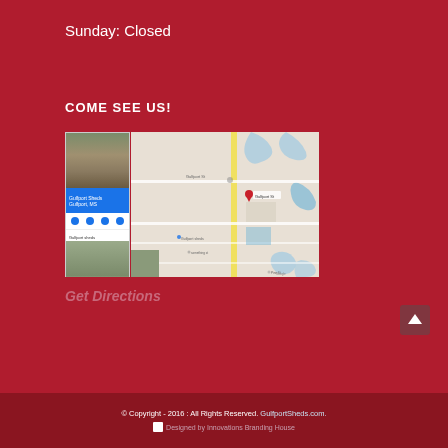Sunday: Closed
COME SEE US!
[Figure (screenshot): Google Maps screenshot showing location of Gulfport Sheds, with a sidebar panel on the left showing location info and photos, and a map view on the right with a red pin marker on a road.]
Get Directions
© Copyright - 2016 : All Rights Reserved. GulfportSheds.com. Designed by Innovations Branding House